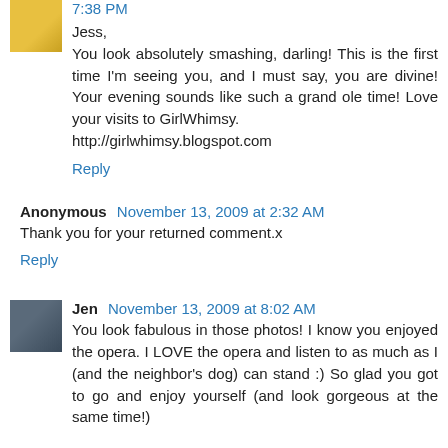7:38 PM
Jess,
You look absolutely smashing, darling! This is the first time I'm seeing you, and I must say, you are divine! Your evening sounds like such a grand ole time! Love your visits to GirlWhimsy.
http://girlwhimsy.blogspot.com
Reply
Anonymous November 13, 2009 at 2:32 AM
Thank you for your returned comment.x
Reply
Jen November 13, 2009 at 8:02 AM
You look fabulous in those photos! I know you enjoyed the opera. I LOVE the opera and listen to as much as I (and the neighbor's dog) can stand :) So glad you got to go and enjoy yourself (and look gorgeous at the same time!)